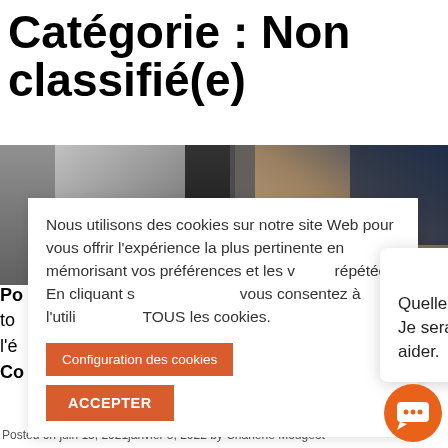Catégorie : Non classifié(e)
[Figure (photo): Background photo showing binders/books on a shelf with blurred background]
Nous utilisons des cookies sur notre site Web pour vous offrir l'expérience la plus pertinente en mémorisant vos préférences et les visites répétées. En cliquant sur «Accepter», vous consentez à l'utilisation de TOUS les cookies.
Configuration des cookies
ACCEPTER
Quelle est votre question? Je serais heureux de vous aider.
Director
Posted on juin 15, 2021janvier 3, 2022 by Charlene Mougeot